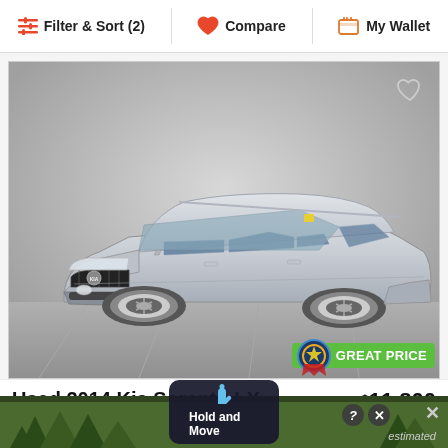Filter & Sort (2)   Compare   My Wallet
[Figure (photo): A silver 2014 Kia Sorento LX SUV photographed from a front three-quarter angle in a parking lot or dealership setting. The vehicle has silver paint, alloy wheels, and a 'GREAT PRICE' badge overlay in the lower right corner with a green background and medal icon.]
Used 2014 Kia Sorento LX
LX Con
$11,800
estimated
Hold and Move